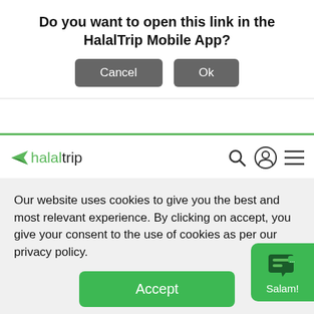Do you want to open this link in the HalalTrip Mobile App?
Cancel | Ok
[Figure (logo): HalalTrip logo with green paper plane icon, 'halal' in green and 'trip' in black, with search, user, and hamburger menu icons on the right]
Featured Destinations
Destination Marketing
Download Visitor Guides
Explore Uzbekistan
Muslim Traveler Essentials
Our website uses cookies to give you the best and most relevant experience. By clicking on accept, you give your consent to the use of cookies as per our privacy policy.
Accept
[Figure (other): Green chat widget button with speech bubble icon and 'Salam!' label]